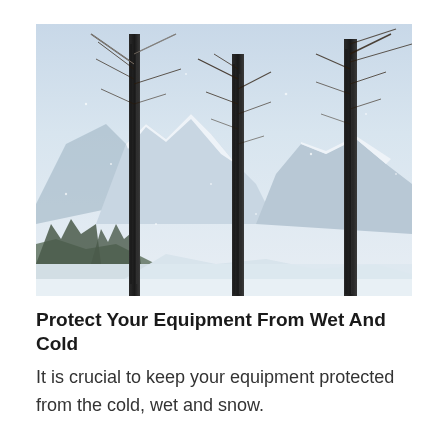[Figure (photo): Winter mountain landscape photograph showing tall bare conifer trees in the foreground dusted with snow, with snow-covered mountain peaks and a pale blue-grey sky in the background. The scene is a wintry alpine environment with snowfall.]
Protect Your Equipment From Wet And Cold
It is crucial to keep your equipment protected from the cold, wet and snow.